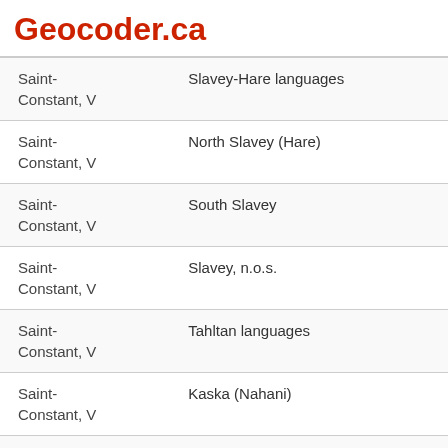Geocoder.ca
| Location | Language |
| --- | --- |
| Saint-Constant, V | Slavey-Hare languages |
| Saint-Constant, V | North Slavey (Hare) |
| Saint-Constant, V | South Slavey |
| Saint-Constant, V | Slavey, n.o.s. |
| Saint-Constant, V | Tahltan languages |
| Saint-Constant, V | Kaska (Nahani) |
| Saint-Constant, V | Tahltan |